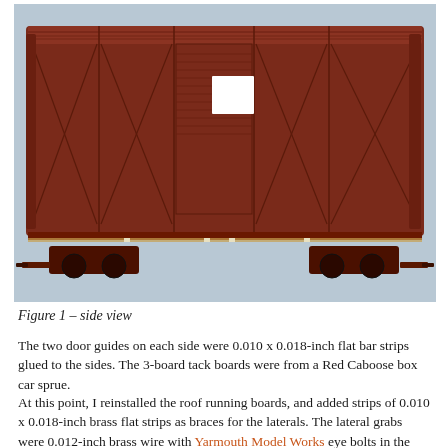[Figure (photo): Side view of a dark reddish-brown model railroad box car (freight car) photographed against a light blue-gray background. The model shows detailed exterior paneling, diagonal bracing, a white square placard area, and undercarriage detail.]
Figure 1 – side view
The two door guides on each side were 0.010 x 0.018-inch flat bar strips glued to the sides. The 3-board tack boards were from a Red Caboose box car sprue.
At this point, I reinstalled the roof running boards, and added strips of 0.010 x 0.018-inch brass flat strips as braces for the laterals. The lateral grabs were 0.012-inch brass wire with Yarmouth Model Works eye bolts in the corners. The running board end braces were two different pieces. Above the end doors these are shorter, and Red Caboose braces work well; on the hand brake end I used Proto2000